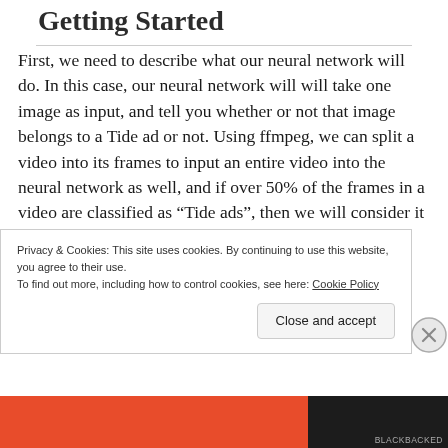Getting Started
First, we need to describe what our neural network will do. In this case, our neural network will will take one image as input, and tell you whether or not that image belongs to a Tide ad or not. Using ffmpeg, we can split a video into its frames to input an entire video into the neural network as well, and if over 50% of the frames in a video are classified as “Tide ads”, then we will consider it to be a Tide ad.
Privacy & Cookies: This site uses cookies. By continuing to use this website, you agree to their use.
To find out more, including how to control cookies, see here: Cookie Policy
Close and accept